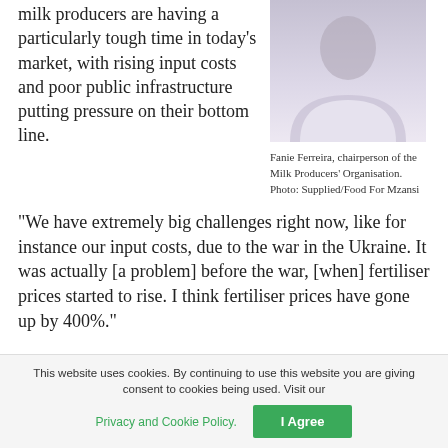milk producers are having a particularly tough time in today's market, with rising input costs and poor public infrastructure putting pressure on their bottom line.
[Figure (photo): Portrait photo of Fanie Ferreira, chairperson of the Milk Producers' Organisation, wearing a white shirt.]
Fanie Ferreira, chairperson of the Milk Producers' Organisation. Photo: Supplied/Food For Mzansi
“We have extremely big challenges right now, like for instance our input costs, due to the war in the Ukraine. It was actually [a problem] before the war, [when] fertiliser prices started to rise. I think fertiliser prices have gone up by 400%.”
This website uses cookies. By continuing to use this website you are giving consent to cookies being used. Visit our Privacy and Cookie Policy. I Agree